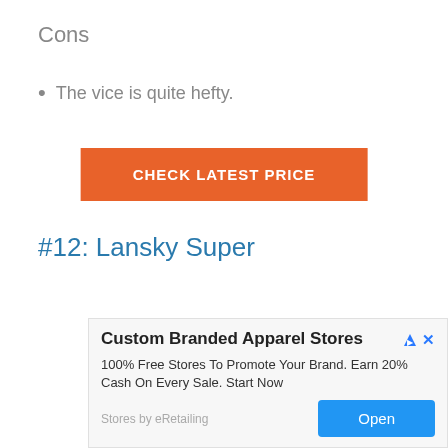Cons
The vice is quite hefty.
CHECK LATEST PRICE
#12: Lansky Super
[Figure (photo): A metal T-bar tool or vice component with threaded rod and cross handle, photographed on white background.]
Custom Branded Apparel Stores
100% Free Stores To Promote Your Brand. Earn 20% Cash On Every Sale. Start Now
Stores by eRetailing  Open